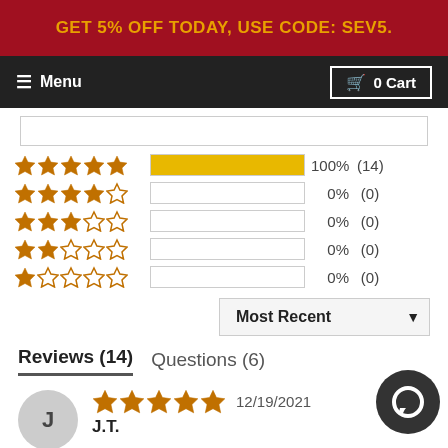GET 5% OFF TODAY, USE CODE: SEV5.
[Figure (screenshot): Navigation bar with hamburger menu 'Menu' on left and '0 Cart' button on right, dark background]
[Figure (bar-chart): Star rating breakdown]
Most Recent
Reviews (14)   Questions (6)
J.T.   12/19/2021